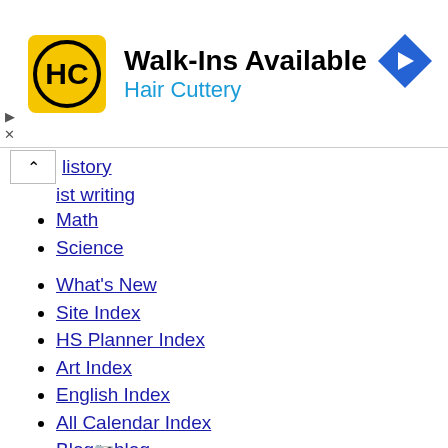[Figure (other): Hair Cuttery advertisement banner with logo (HC in yellow circle), text 'Walk-Ins Available' and 'Hair Cuttery', and a blue diamond arrow icon]
Handwriting (partial, truncated)
History (partial, truncated)
Math
Science
What's New
Site Index
HS Planner Index
Art Index
English Index
All Calendar Index
Blog blog
internet RSS Feed
HSF Forum Archives
HSF Cookbook
Articles
Composition Book Handwriting Lessons
Homemade Handwriting Lessons: Manuscript
Homemade Handwriting Lessons: Cursive
An Idea to Study Words